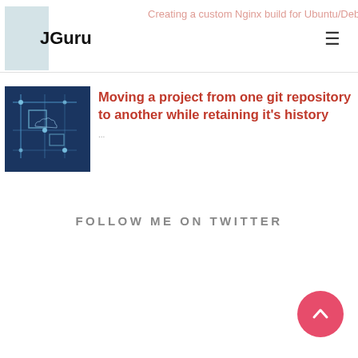JGuru
Creating a custom Nginx build for Ubuntu/Debian
[Figure (screenshot): Circuit board thumbnail image with blue tones]
Moving a project from one git repository to another while retaining it's history
FOLLOW ME ON TWITTER